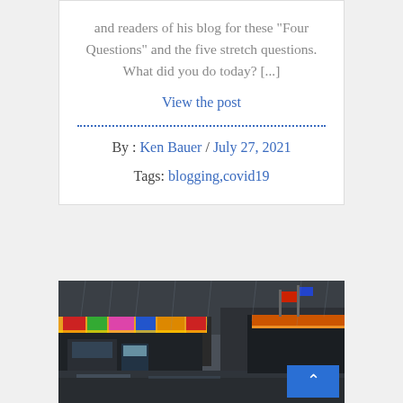and readers of his blog for these “Four Questions” and the five stretch questions. What did you do today? [...]
View the post
By : Ken Bauer / July 27, 2021
Tags: blogging,covid19
[Figure (photo): Rain-soaked fairground midway with colorful carnival rides and vendor booths, wet pavement reflecting lights, overcast sky]